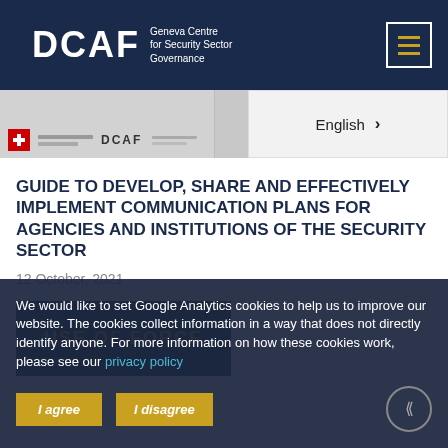DCAF Geneva Centre for Security Sector Governance
[Figure (screenshot): Document thumbnail showing Swiss flag and DCAF logo on a light background header]
[Figure (screenshot): Language selector button showing English with chevron arrow]
GUIDE TO DEVELOP, SHARE AND EFFECTIVELY IMPLEMENT COMMUNICATION PLANS FOR AGENCIES AND INSTITUTIONS OF THE SECURITY SECTOR
12 October, 2021
[Figure (photo): Dark navy blue image with USE OF FORCE text in yellow/gold uppercase letters]
We would like to set Google Analytics cookies to help us to improve our website. The cookies collect information in a way that does not directly identify anyone. For more information on how these cookies work, please see our privacy policy
I agree
I disagree